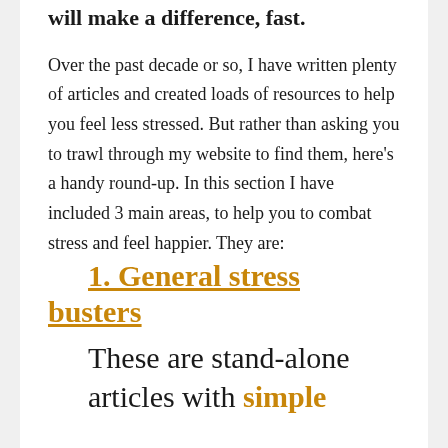will make a difference, fast.
Over the past decade or so, I have written plenty of articles and created loads of resources to help you feel less stressed. But rather than asking you to trawl through my website to find them, here's a handy round-up. In this section I have included 3 main areas, to help you to combat stress and feel happier. They are:
1. General stress busters
These are stand-alone articles with simple